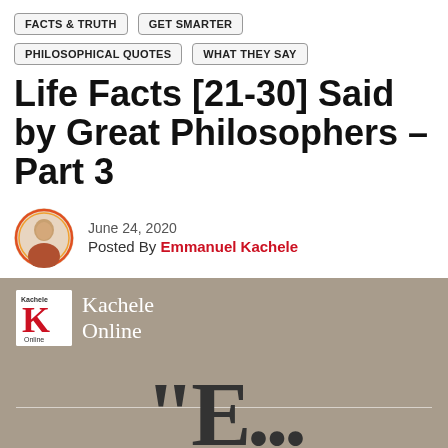FACTS & TRUTH   GET SMARTER   PHILOSOPHICAL QUOTES   WHAT THEY SAY
Life Facts [21-30] Said by Great Philosophers – Part 3
June 24, 2020
Posted By Emmanuel Kachele
[Figure (logo): Kachele Online logo with tan/brown background, white text reading Kachele Online, and a K logo icon in a white box]